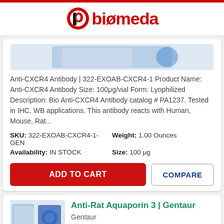[Figure (logo): Biomeda logo with stylized 'b' icon in black and red, followed by 'biømeda' in red text]
[Figure (photo): Partial product image at top of card, showing antibody vial or product packaging against blue/white background]
Anti-CXCR4 Antibody | 322-EXOAB-CXCR4-1 Product Name: Anti-CXCR4 Antibody Size: 100μg/vial Form: Lyophilized Description: Bio Anti-CXCR4 Antibody catalog # PA1237. Tested in IHC, WB applications. This antibody reacts with Human, Mouse, Rat...
| SKU: | 322-EXOAB-CXCR4-1-GEN | Weight: | 1.00 Ounces |
| Availability: | IN STOCK | Size: | 100 μg |
ADD TO CART
COMPARE
Anti-Rat Aquaporin 3 | Gentaur
Gentaur
[Figure (photo): Product images for Anti-Rat Aquaporin 3 showing two product boxes/vials]